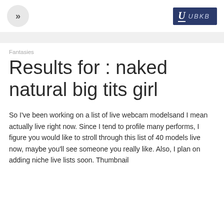>> | U UBKB
Fantasies
Results for : naked natural big tits girl
So I've been working on a list of live webcam modelsand I mean actually live right now. Since I tend to profile many performs, I figure you would like to stroll through this list of 40 models live now, maybe you'll see someone you really like. Also, I plan on adding niche live lists soon. Thumbnail